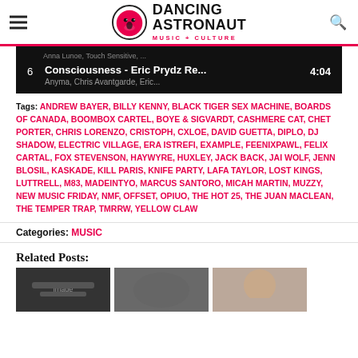Dancing Astronaut - Music + Culture
[Figure (screenshot): Music player showing track: Consciousness - Eric Prydz Re... 4:04, Anyma, Chris Avantgarde, Eric...]
Tags: ANDREW BAYER, BILLY KENNY, BLACK TIGER SEX MACHINE, BOARDS OF CANADA, BOOMBOX CARTEL, BOYE & SIGVARDT, CASHMERE CAT, CHET PORTER, CHRIS LORENZO, CRISTOPH, CXLOE, DAVID GUETTA, DIPLO, DJ SHADOW, ELECTRIC VILLAGE, ERA ISTREFI, EXAMPLE, FEENIXPAWL, FELIX CARTAL, FOX STEVENSON, HAYWYRE, HUXLEY, JACK BACK, JAI WOLF, JENN BLOSIL, KASKADE, KILL PARIS, KNIFE PARTY, LAFA TAYLOR, LOST KINGS, LUTTRELL, M83, MADEINTYO, MARCUS SANTORO, MICAH MARTIN, MUZZY, NEW MUSIC FRIDAY, NMF, OFFSET, OPIUO, THE HOT 25, THE JUAN MACLEAN, THE TEMPER TRAP, TMRRW, YELLOW CLAW
Categories: MUSIC
Related Posts:
[Figure (photo): Three thumbnail images for related posts]